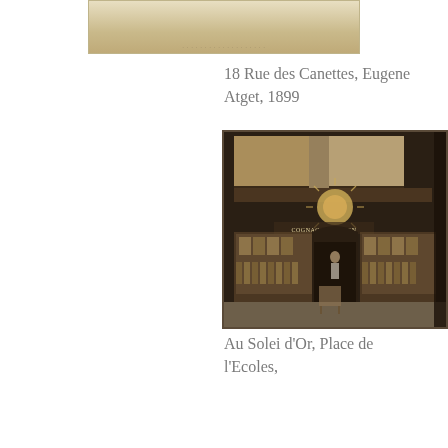[Figure (photo): Historic photograph, partially cropped at top, showing a building facade or street scene, sepia toned, with small text below the image]
18 Rue des Canettes, Eugene Atget, 1899
[Figure (photo): Sepia-toned photograph of a 19th century Parisian shop front (Au Solei d'Or) with display windows filled with bottles and goods, a sun emblem above the door, and balconies above. Sign reads COGNAC BISANCON.]
Au Solei d'Or, Place de l'Ecoles,